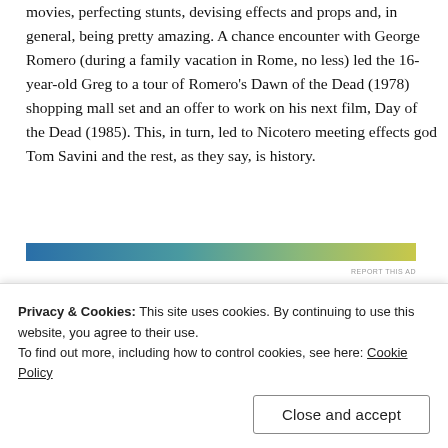movies, perfecting stunts, devising effects and props and, in general, being pretty amazing. A chance encounter with George Romero (during a family vacation in Rome, no less) led the 16-year-old Greg to a tour of Romero's Dawn of the Dead (1978) shopping mall set and an offer to work on his next film, Day of the Dead (1985). This, in turn, led to Nicotero meeting effects god Tom Savini and the rest, as they say, is history.
[Figure (other): Horizontal gradient bar from blue on the left to yellow-green on the right, with 'REPORT THIS AD' text below on the right side.]
Privacy & Cookies: This site uses cookies. By continuing to use this website, you agree to their use.
To find out more, including how to control cookies, see here: Cookie Policy
Close and accept